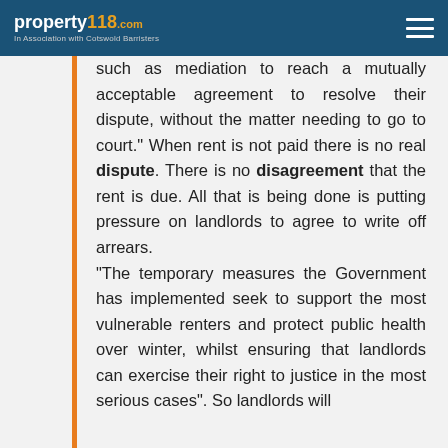property118.com — In Association with Cotswold Barristers
such as mediation to reach a mutually acceptable agreement to resolve their dispute, without the matter needing to go to court." When rent is not paid there is no real dispute. There is no disagreement that the rent is due. All that is being done is putting pressure on landlords to agree to write off arrears.
"The temporary measures the Government has implemented seek to support the most vulnerable renters and protect public health over winter, whilst ensuring that landlords can exercise their right to justice in the most serious cases". So landlords will